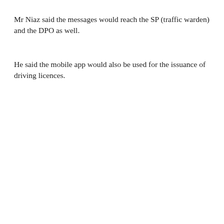Mr Niaz said the messages would reach the SP (traffic warden) and the DPO as well.
He said the mobile app would also be used for the issuance of driving licences.